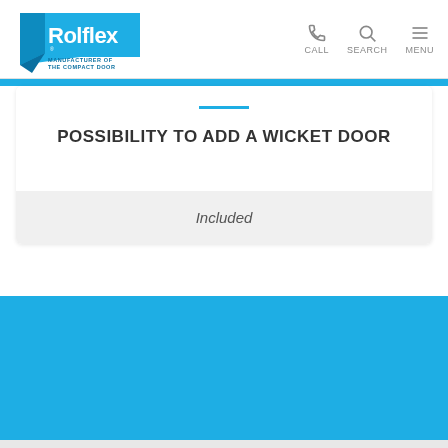Rolflex - Manufacturer of the Compact Door — CALL, SEARCH, MENU
POSSIBILITY TO ADD A WICKET DOOR
Included